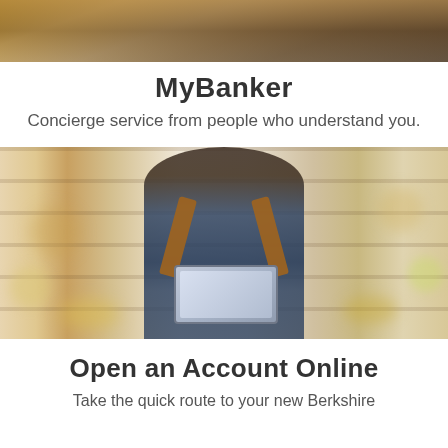[Figure (photo): Top portion of a photo showing a person outdoors, cropped to show only the upper part]
MyBanker
Concierge service from people who understand you.
[Figure (photo): A woman wearing a blue denim apron and gray t-shirt, holding a tablet device, standing in a retail/grocery store with shelves of products in the background]
Open an Account Online
Take the quick route to your new Berkshire